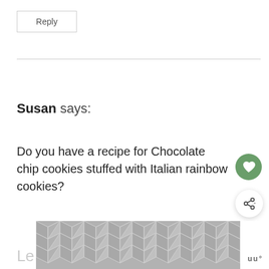Reply
Susan says:
Do you have a recipe for Chocolate chip cookies stuffed with Italian rainbow cookies?
Reply
[Figure (other): Geometric hexagon/chevron pattern in grey tones at bottom of page]